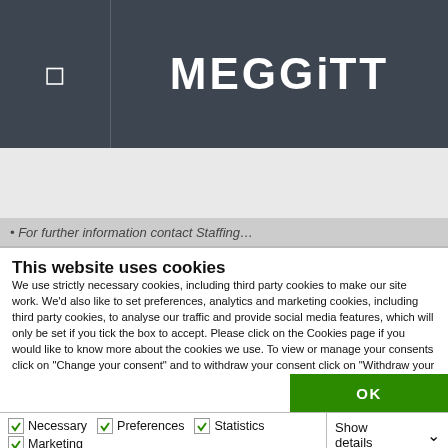MEGGiTT
For further information contact Staffing…
This website uses cookies
We use strictly necessary cookies, including third party cookies to make our site work. We'd also like to set preferences, analytics and marketing cookies, including third party cookies, to analyse our traffic and provide social media features, which will only be set if you tick the box to accept. Please click on the Cookies page if you would like to know more about the cookies we use. To view or manage your consents click on "Change your consent" and to withdraw your consent click on "Withdraw your consent".
OK
Necessary  Preferences  Statistics  Marketing  Show details